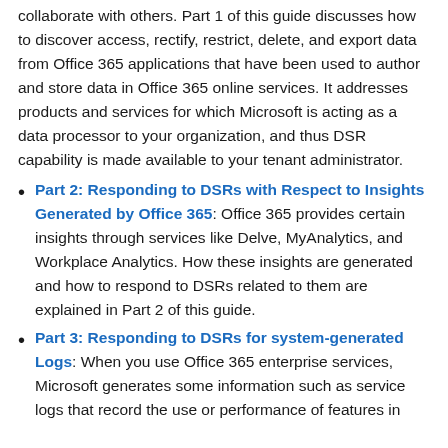collaborate with others. Part 1 of this guide discusses how to discover access, rectify, restrict, delete, and export data from Office 365 applications that have been used to author and store data in Office 365 online services. It addresses products and services for which Microsoft is acting as a data processor to your organization, and thus DSR capability is made available to your tenant administrator.
Part 2: Responding to DSRs with Respect to Insights Generated by Office 365: Office 365 provides certain insights through services like Delve, MyAnalytics, and Workplace Analytics. How these insights are generated and how to respond to DSRs related to them are explained in Part 2 of this guide.
Part 3: Responding to DSRs for system-generated Logs: When you use Office 365 enterprise services, Microsoft generates some information such as service logs that record the use or performance of features in